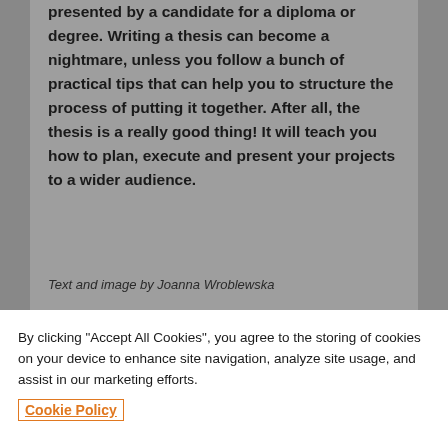presented by a candidate for a diploma or degree. Writing a thesis can become a nightmare, unless you follow a bunch of practical tips that can help you to structure the process of putting it together. After all, the thesis is a really good thing! It will teach you how to plan, execute and present your projects to a wider audience.
Text and image by Joanna Wroblewska
By clicking "Accept All Cookies", you agree to the storing of cookies on your device to enhance site navigation, analyze site usage, and assist in our marketing efforts.
Cookie Policy